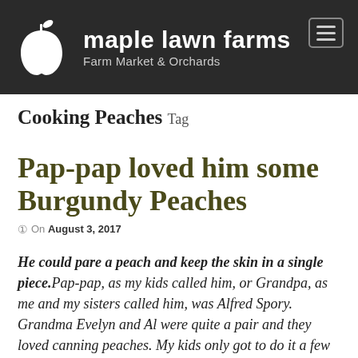[Figure (logo): Maple Lawn Farms website header with apple logo, site name 'maple lawn farms', tagline 'Farm Market & Orchards', and a hamburger menu button on a dark background]
Cooking Peaches Tag
Pap-pap loved him some Burgundy Peaches
On August 3, 2017
He could pare a peach and keep the skin in a single piece. Pap-pap, as my kids called him, or Grandpa, as me and my sisters called him, was Alfred Spory. Grandma Evelyn and Al were quite a pair and they loved canning peaches. My kids only got to do it a few